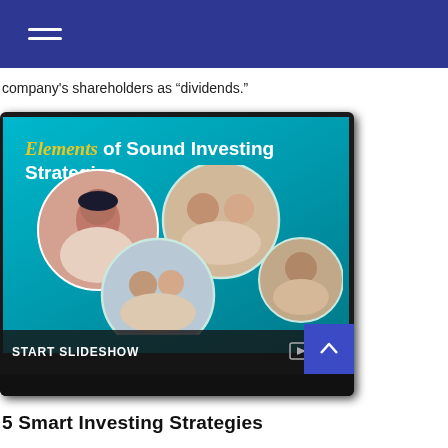Navigation menu (hamburger icon)
company's shareholders as “dividends.”
[Figure (screenshot): A tablet displaying a slideshow titled 'Elements of Sound Investing Strategies' with circular photos of smiling people on a teal background. A dark overlay bar at the bottom reads 'START SLIDESHOW' with a slideshow icon. A blue scroll-up button is in the bottom-right corner.]
5 Smart Investing Strategies